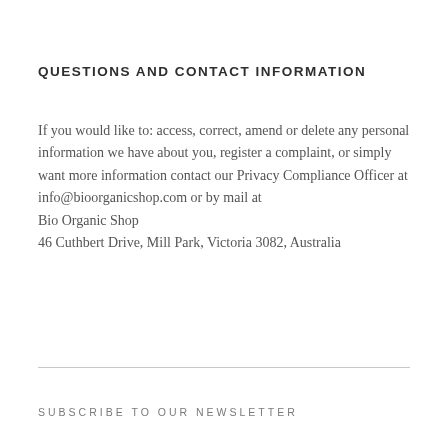QUESTIONS AND CONTACT INFORMATION
If you would like to: access, correct, amend or delete any personal information we have about you, register a complaint, or simply want more information contact our Privacy Compliance Officer at info@bioorganicshop.com or by mail at
Bio Organic Shop
46 Cuthbert Drive, Mill Park, Victoria 3082, Australia
SUBSCRIBE TO OUR NEWSLETTER